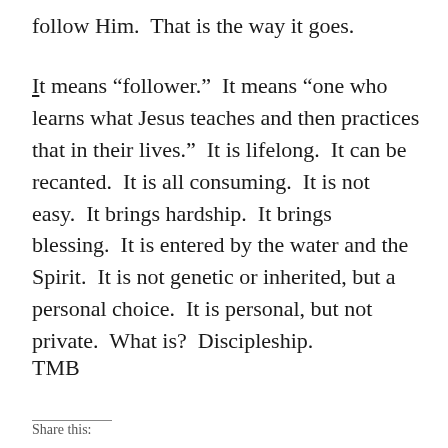follow Him.  That is the way it goes.
It means “follower.”  It means “one who learns what Jesus teaches and then practices that in their lives.”  It is lifelong.  It can be recanted.  It is all consuming.  It is not easy.  It brings hardship.  It brings blessing.  It is entered by the water and the Spirit.  It is not genetic or inherited, but a personal choice.  It is personal, but not private.  What is?  Discipleship.
TMB
Share this: